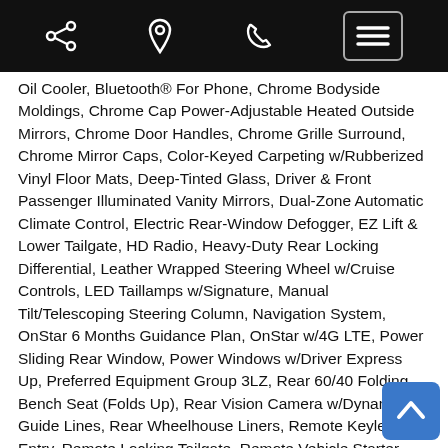Navigation bar with share, location, phone, and menu icons
Oil Cooler, Bluetooth® For Phone, Chrome Bodyside Moldings, Chrome Cap Power-Adjustable Heated Outside Mirrors, Chrome Door Handles, Chrome Grille Surround, Chrome Mirror Caps, Color-Keyed Carpeting w/Rubberized Vinyl Floor Mats, Deep-Tinted Glass, Driver & Front Passenger Illuminated Vanity Mirrors, Dual-Zone Automatic Climate Control, Electric Rear-Window Defogger, EZ Lift & Lower Tailgate, HD Radio, Heavy-Duty Rear Locking Differential, Leather Wrapped Steering Wheel w/Cruise Controls, LED Taillamps w/Signature, Manual Tilt/Telescoping Steering Column, Navigation System, OnStar 6 Months Guidance Plan, OnStar w/4G LTE, Power Sliding Rear Window, Power Windows w/Driver Express Up, Preferred Equipment Group 3LZ, Rear 60/40 Folding Bench Seat (Folds Up), Rear Vision Camera w/Dynamic Guide Lines, Rear Wheelhouse Liners, Remote Keyless Entry, Remote Locking Tailgate, Remote Vehicle Starter System, Single Slot CD/MP3 Player, Spray-On Pickup Box Bed Liner, Steering Wheel Audio Controls, Theft Deterrent System (Unauthorized, Thin Profile LED Fog Lamps, Trailering Package, Universal H... Remote...